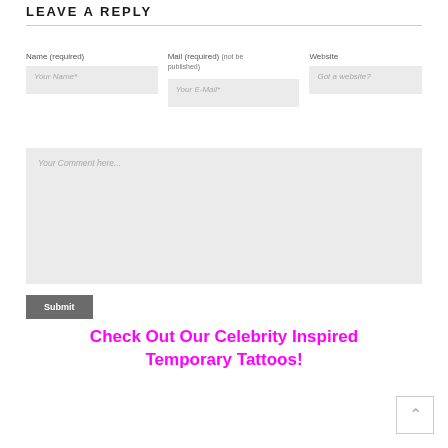LEAVE A REPLY
Name (required)
Mail (required) (not be published)
Website
Your Name*
Your E-Mail*
Got a website?
Your Comment here...
Submit
Check Out Our Celebrity Inspired Temporary Tattoos!